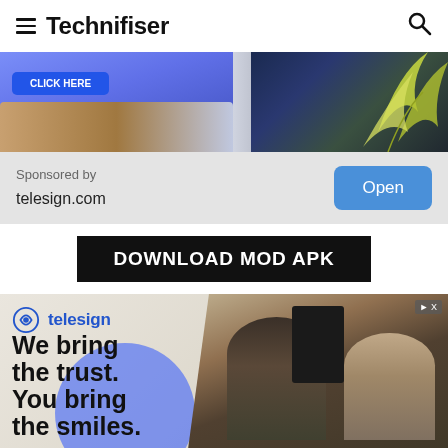Technifiser
[Figure (photo): Hero banner image showing a living room with blue/purple background and tropical plant on the right side]
Sponsored by
telesign.com
Open
DOWNLOAD MOD APK
[Figure (photo): Telesign advertisement banner showing two people smiling with text 'We bring the trust. You bring the smiles.']